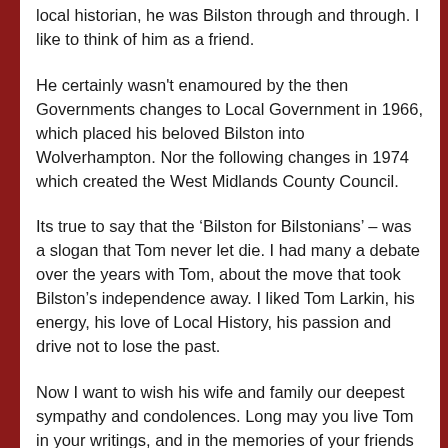local historian, he was Bilston through and through. I like to think of him as a friend.
He certainly wasn't enamoured by the then Governments changes to Local Government in 1966, which placed his beloved Bilston into Wolverhampton. Nor the following changes in 1974 which created the West Midlands County Council.
Its true to say that the ‘Bilston for Bilstonians’ – was a slogan that Tom never let die. I had many a debate over the years with Tom, about the move that took Bilston’s independence away. I liked Tom Larkin, his energy, his love of Local History, his passion and drive not to lose the past.
Now I want to wish his wife and family our deepest sympathy and condolences. Long may you live Tom in your writings, and in the memories of your friends and family.